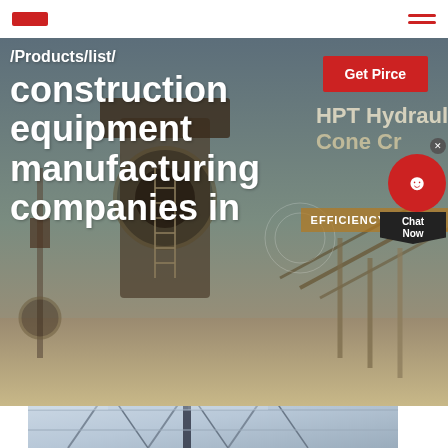/Products/list/ construction equipment manufacturing companies in
Get Pirce
HPT Hydraulic Cone Cr...
EFFICIENCY INCREA...
[Figure (photo): Industrial construction equipment site with large machinery and conveyor structures in an outdoor setting]
[Figure (photo): Interior of an industrial building or factory with steel truss roof structure]